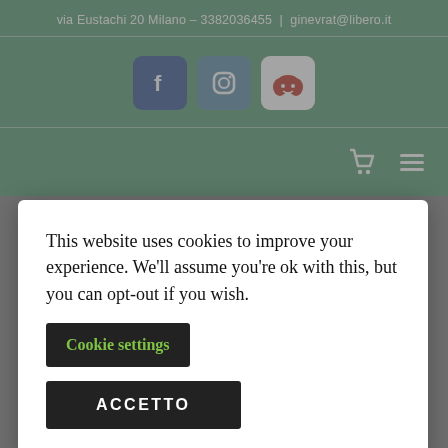via Eustachi 20 Milano – 3382036455 | ginevrat@libero.it
[Figure (other): Social media icons: Facebook (blue rounded square), Instagram (blue-grey rounded square), Reddit (white rounded square with orange icon)]
[Figure (other): Navigation bar with shopping cart icon and hamburger menu icon on green background]
This website uses cookies to improve your experience. We'll assume you're ok with this, but you can opt-out if you wish.
Cookie settings
ACCETTO
[Figure (other): Bottom toolbar with grid view and list view icons on grey background]